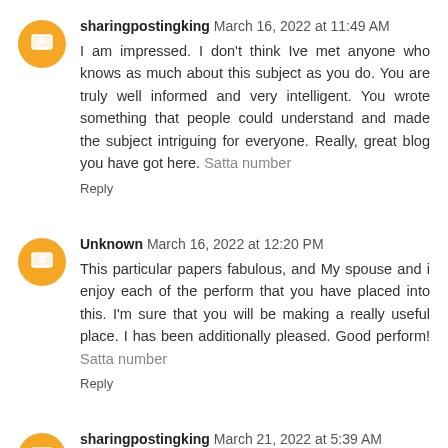sharingpostingking March 16, 2022 at 11:49 AM
I am impressed. I don't think Ive met anyone who knows as much about this subject as you do. You are truly well informed and very intelligent. You wrote something that people could understand and made the subject intriguing for everyone. Really, great blog you have got here. Satta number
Reply
Unknown March 16, 2022 at 12:20 PM
This particular papers fabulous, and My spouse and i enjoy each of the perform that you have placed into this. I'm sure that you will be making a really useful place. I has been additionally pleased. Good perform! Satta number
Reply
sharingpostingking March 21, 2022 at 5:39 AM
I haven't any word to appreciate this post.....Really i am impressed from this post...the person who create this post it was a great human..